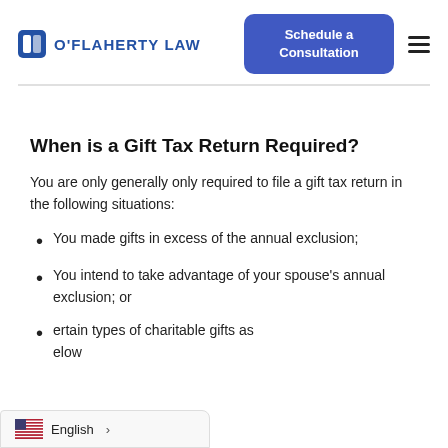O'Flaherty Law — Schedule a Consultation
When is a Gift Tax Return Required?
You are only generally only required to file a gift tax return in the following situations:
You made gifts in excess of the annual exclusion;
You intend to take advantage of your spouse's annual exclusion; or
certain types of charitable gifts as below